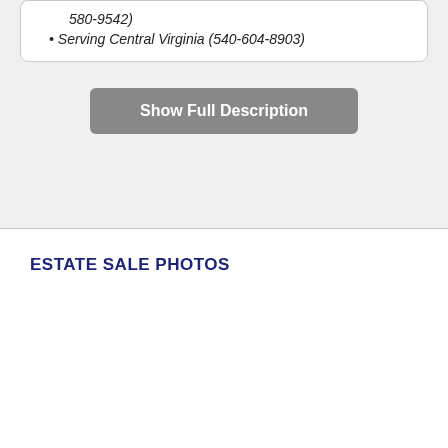580-9542)
Serving Central Virginia (540-604-8903)
Show Full Description
ESTATE SALE PHOTOS